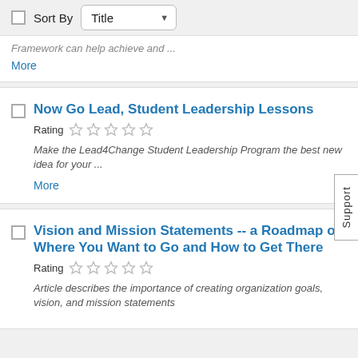Sort By Title
Framework can help achieve and ...
More
Now Go Lead, Student Leadership Lessons
Rating
Make the Lead4Change Student Leadership Program the best new idea for your ...
More
Vision and Mission Statements -- a Roadmap of Where You Want to Go and How to Get There
Rating
Article describes the importance of creating organization goals, vision, and mission statements